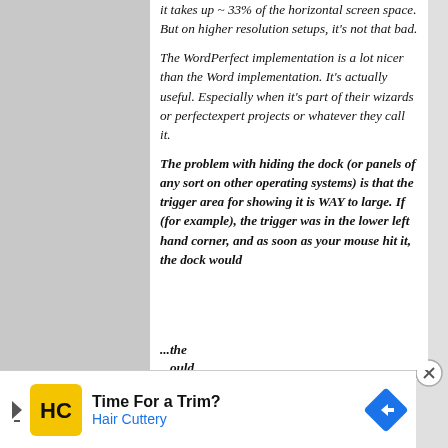it takes up ~ 33% of the horizontal screen space. But on higher resolution setups, it's not that bad.
The WordPerfect implementation is a lot nicer than the Word implementation. It's actually useful. Especially when it's part of their wizards or perfectexpert projects or whatever they call it.
The problem with hiding the dock (or panels of any sort on other operating systems) is that the trigger area for showing it is WAY to large. If (for example), the trigger was in the lower left hand corner, and as soon as your mouse hit it, the dock would
[Figure (other): Advertisement banner for Hair Cuttery - Time For a Trim?]